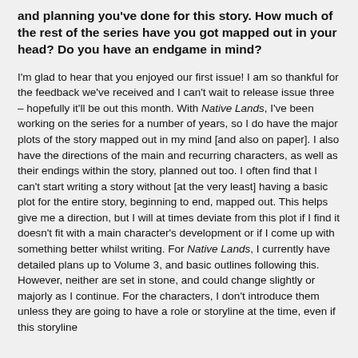and planning you've done for this story. How much of the rest of the series have you got mapped out in your head? Do you have an endgame in mind?
I'm glad to hear that you enjoyed our first issue! I am so thankful for the feedback we've received and I can't wait to release issue three – hopefully it'll be out this month. With Native Lands, I've been working on the series for a number of years, so I do have the major plots of the story mapped out in my mind [and also on paper]. I also have the directions of the main and recurring characters, as well as their endings within the story, planned out too. I often find that I can't start writing a story without [at the very least] having a basic plot for the entire story, beginning to end, mapped out. This helps give me a direction, but I will at times deviate from this plot if I find it doesn't fit with a main character's development or if I come up with something better whilst writing. For Native Lands, I currently have detailed plans up to Volume 3, and basic outlines following this. However, neither are set in stone, and could change slightly or majorly as I continue. For the characters, I don't introduce them unless they are going to have a role or storyline at the time, even if this storyline